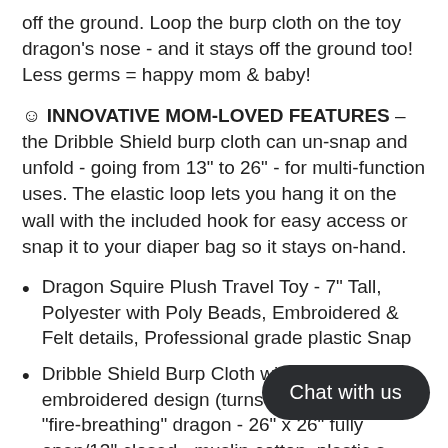off the ground. Loop the burp cloth on the toy dragon's nose - and it stays off the ground too! Less germs = happy mom & baby!
☺ INNOVATIVE MOM-LOVED FEATURES – the Dribble Shield burp cloth can un-snap and unfold - going from 13" to 26" - for multi-function uses. The elastic loop lets you hang it on the wall with the included hook for easy access or snap it to your diaper bag so it stays on-hand.
Dragon Squire Plush Travel Toy - 7" Tall, Polyester with Poly Beads, Embroidered & Felt details, Professional grade plastic Snap
Dribble Shield Burp Cloth with flame embroidered design (turns dragon toy into a "fire-breathing" dragon - 26" x 26" fully open/13" closed - muslin cotton, plastic s... elastic loop
Self adhesive Dragon Hook - made of soft pvc with